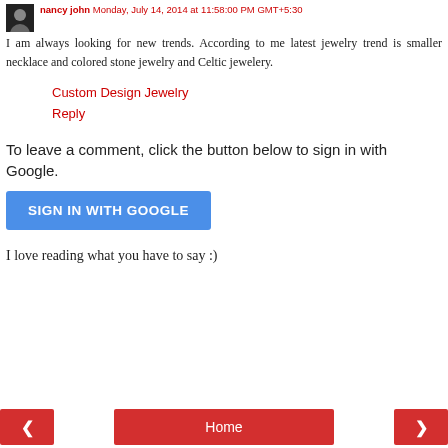nancy john Monday, July 14, 2014 at 11:58:00 PM GMT+5:30
I am always looking for new trends. According to me latest jewelry trend is smaller necklace and colored stone jewelry and Celtic jewelery.
Custom Design Jewelry
Reply
To leave a comment, click the button below to sign in with Google.
SIGN IN WITH GOOGLE
I love reading what you have to say :)
< Home >